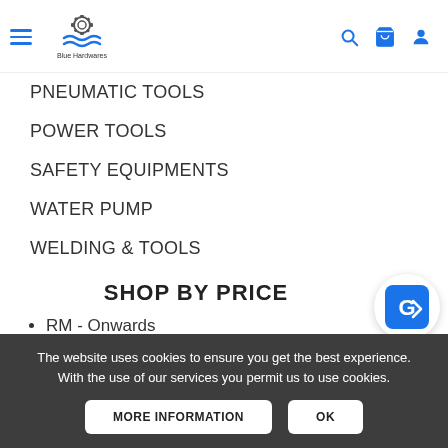[Figure (logo): Blue Hardwares store logo with a gear and water wave icon, company name below]
PNEUMATIC TOOLS
POWER TOOLS
SAFETY EQUIPMENTS
WATER PUMP
WELDING & TOOLS
SHOP BY PRICE
RM - Onwards
INFORMATION
The website uses cookies to ensure you get the best experience. With the use of our services you permit us to use cookies.
MORE INFORMATION
OK